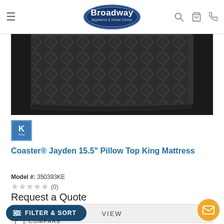[Figure (logo): Broadway Appliance & Home Center oval logo with white text on dark blue background]
[Figure (photo): Close-up photo of a dark grey quilted pillow-top mattress surface showing diamond pattern stitching]
[Figure (other): King size badge - teal/blue square with letter K and text 'King']
Coaster® Jayden 15.5" Pillow Top King Mattress
Model #: 350393KE
★★★★★ (0)
Request a Quote
VIEW
COMPARE